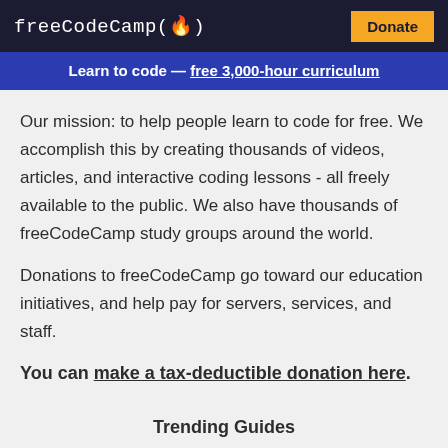freeCodeCamp(🔥) Donate
Learn to code — free 3,000-hour curriculum
Our mission: to help people learn to code for free. We accomplish this by creating thousands of videos, articles, and interactive coding lessons - all freely available to the public. We also have thousands of freeCodeCamp study groups around the world.
Donations to freeCodeCamp go toward our education initiatives, and help pay for servers, services, and staff.
You can make a tax-deductible donation here.
Trending Guides